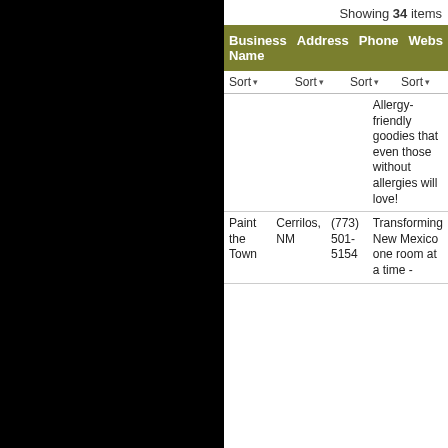Showing 34 items
| Business Name | Address | Phone | Webs... |
| --- | --- | --- | --- |
|  |  |  | Allergy-friendly goodies that even those without allergies will love! |
| Paint the Town | Cerrilos, NM | (773) 501-5154 | Transforming New Mexico one room at a time - |